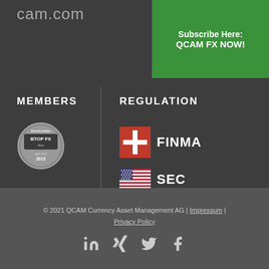cam.com
[Figure (other): Green subscribe button: Subscribe Here: QCAM FX NOW!]
MEMBERS
REGULATION
[Figure (logo): BarcleyHelps BTOP FX First and Only 2015 badge]
[Figure (logo): Swiss flag with FINMA text]
[Figure (logo): US flag with SEC text]
© 2021 QCAM Currency Asset Management AG | Impressum | Privacy Policy
[Figure (other): Social media icons: LinkedIn, Xing, Twitter, Facebook]